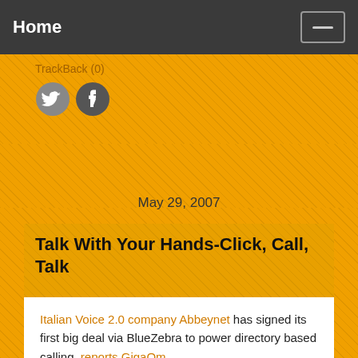Home
TrackBack (0)
May 29, 2007
Talk With Your Hands-Click, Call, Talk
Italian Voice 2.0 company Abbeynet has signed its first big deal via BlueZebra to power directory based calling, reports GigaOm.
Posted at 04:51 AM | Permalink | Comments (0) | TrackBack (0)